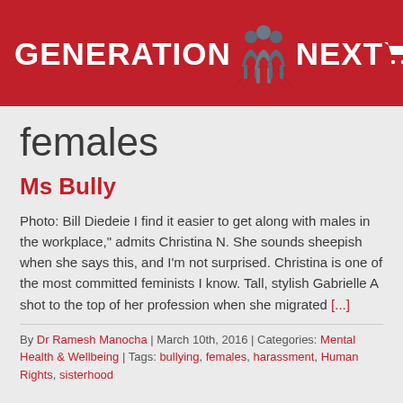GENERATION NEXT
females
Ms Bully
Photo: Bill Diedeie I find it easier to get along with males in the workplace," admits Christina N. She sounds sheepish when she says this, and I'm not surprised. Christina is one of the most committed feminists I know. Tall, stylish Gabrielle A shot to the top of her profession when she migrated [...]
By Dr Ramesh Manocha | March 10th, 2016 | Categories: Mental Health & Wellbeing | Tags: bullying, females, harassment, Human Rights, sisterhood